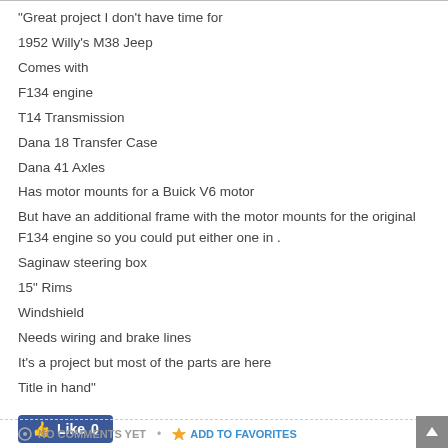“Great project I don’t have time for
1952 Willy’s M38 Jeep
Comes with
F134 engine
T14 Transmission
Dana 18 Transfer Case
Dana 41 Axles
Has motor mounts for a Buick V6 motor
But have an additional frame with the motor mounts for the original F134 engine so you could put either one in .
Saginaw steering box
15” Rims
Windshield
Needs wiring and brake lines
It’s a project but most of the parts are here
Title in hand”
[Figure (other): Facebook Like button showing thumbs up icon and Like 0]
NO COMMENTS YET • ADD TO FAVORITES